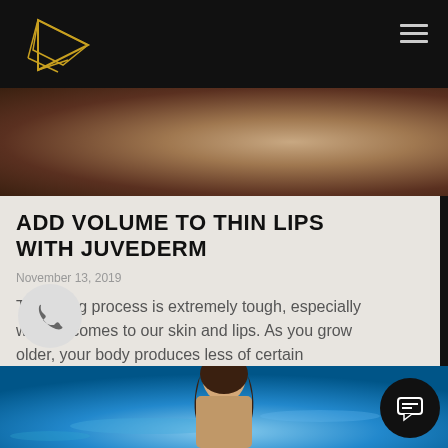[Figure (screenshot): Dark textured black navigation header with gold geometric logo and hamburger menu icon]
[Figure (photo): Close-up of woman with long brown wavy hair against warm background]
ADD VOLUME TO THIN LIPS WITH JUVEDERM
November 13, 2019
The aging process is extremely tough, especially when it comes to our skin and lips. As you grow older, your body produces less of certain
Read more »
[Figure (photo): Woman with long dark hair near swimming pool with blue water in background]